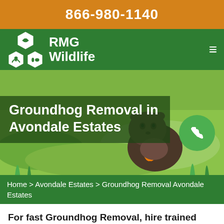866-980-1140
[Figure (logo): RMG Wildlife logo with hexagonal animal icons and brand name]
[Figure (photo): Groundhog eating an orange carrot on green grass, with title overlay 'Groundhog Removal in Avondale Estates' and a green phone circle button]
Home > Avondale Estates > Groundhog Removal Avondale Estates
For fast Groundhog Removal, hire trained experts in Avondale Estates.